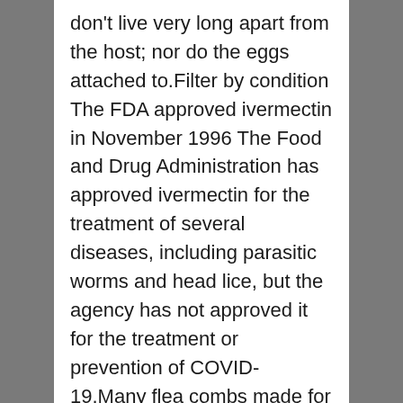don't live very long apart from the host; nor do the eggs attached to.Filter by condition The FDA approved ivermectin in November 1996 The Food and Drug Administration has approved ivermectin for the treatment of several diseases, including parasitic worms and head lice, but the agency has not approved it for the treatment or prevention of COVID-19.Many flea combs made for cats and dogs are also effective.I took the paste version of Ivermectin Panomec, when I contracted c19 back in April/21 !Head Lice Ivermectin is sometimes used to treat head li...